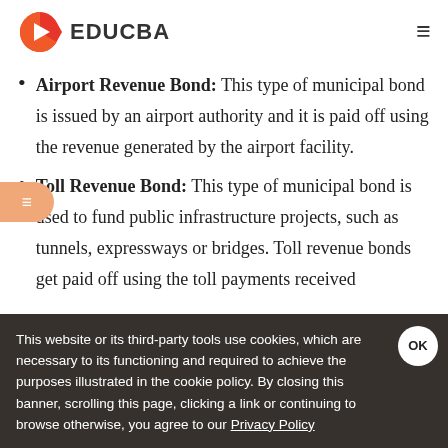EDUCBA
Airport Revenue Bond: This type of municipal bond is issued by an airport authority and it is paid off using the revenue generated by the airport facility.
Toll Revenue Bond: This type of municipal bond is used to fund public infrastructure projects, such as tunnels, expressways or bridges. Toll revenue bonds get paid off using the toll payments received
This website or its third-party tools use cookies, which are necessary to its functioning and required to achieve the purposes illustrated in the cookie policy. By closing this banner, scrolling this page, clicking a link or continuing to browse otherwise, you agree to our Privacy Policy